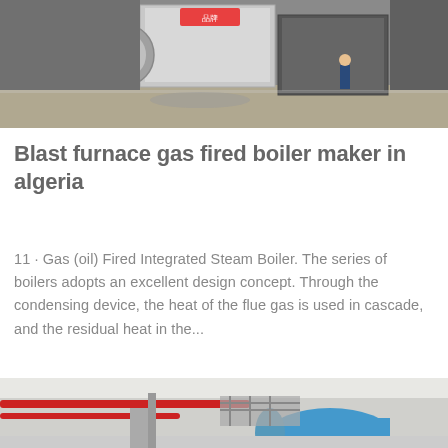[Figure (photo): Industrial boiler equipment in a factory setting, large metal box units with pipes and workers visible]
Blast furnace gas fired boiler maker in algeria
11 · Gas (oil) Fired Integrated Steam Boiler. The series of boilers adopts an excellent design concept. Through the condensing device, the heat of the flue gas is used in cascade, and the residual heat in the...
Get Price
[Figure (photo): Industrial boiler room interior with red pipes, blue boiler unit and metal walkways/stairs visible]